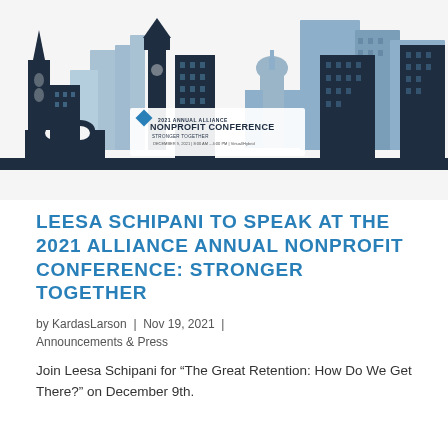[Figure (illustration): 2021 Annual Alliance Nonprofit Conference banner showing a city skyline silhouette in navy blue and steel blue tones with the conference logo and text overlaid on the left side.]
LEESA SCHIPANI TO SPEAK AT THE 2021 ALLIANCE ANNUAL NONPROFIT CONFERENCE: STRONGER TOGETHER
by KardasLarson | Nov 19, 2021 | Announcements & Press
Join Leesa Schipani for “The Great Retention: How Do We Get There?” on December 9th.